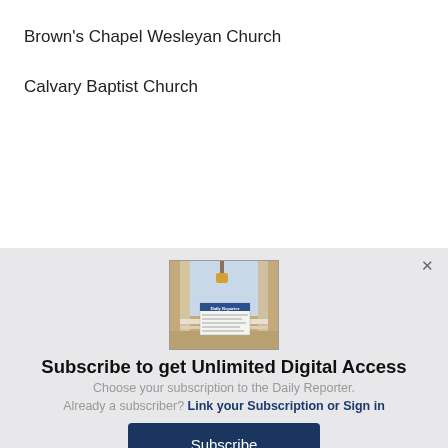Brown's Chapel Wesleyan Church
Calvary Baptist Church
[Figure (illustration): Newspaper (Daily Reporter) on a porch, used as a subscription modal image]
Subscribe to get Unlimited Digital Access
Choose your subscription to the Daily Reporter. Already a subscriber? Link your Subscription or Sign in
Subscribe